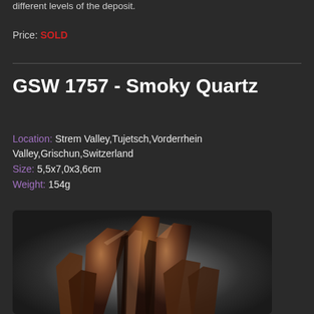different levels of the deposit.
Price: SOLD
GSW 1757 - Smoky Quartz
Location: Strem Valley,Tujetsch,Vorderrhein Valley,Grischun,Switzerland
Size: 5,5x7,0x3,6cm
Weight: 154g
[Figure (photo): Photograph of a smoky quartz mineral specimen cluster with dark brown translucent crystals against a grey gradient background]